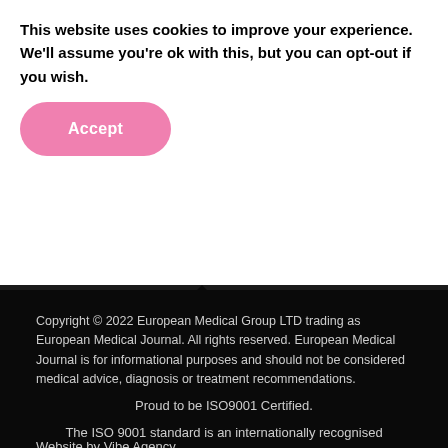This website uses cookies to improve your experience. We'll assume you're ok with this, but you can opt-out if you wish.
Accept
Copyright © 2022 European Medical Group LTD trading as European Medical Journal. All rights reserved. European Medical Journal is for informational purposes and should not be considered medical advice, diagnosis or treatment recommendations.
Ts & Cs    Privacy Policy    Cookie Policy
Website by Vibe Agency
Proud to be ISO9001 Certified.
The ISO 9001 standard is an internationally recognised